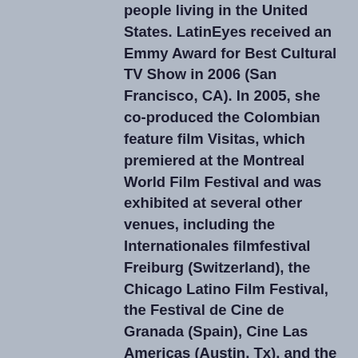people living in the United States. LatinEyes received an Emmy Award for Best Cultural TV Show in 2006 (San Francisco, CA). In 2005, she co-produced the Colombian feature film Visitas, which premiered at the Montreal World Film Festival and was exhibited at several other venues, including the Internationales filmfestival Freiburg (Switzerland), the Chicago Latino Film Festival, the Festival de Cine de Granada (Spain), Cine Las Americas (Austin, Tx), and the Festival de Cine de Cartagena (Colombia), among others. Carolina has a Ph.D. from the University of Pittsburgh, has taught film editing and film studies courses, and is the author of the book Ciudad y Fantasmagoría: Dimensiones de la mirada en el cine